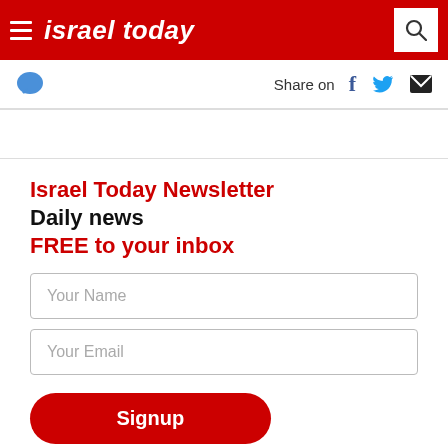israel today
Share on
Israel Today Newsletter
Daily news
FREE to your inbox
Your Name
Your Email
Signup